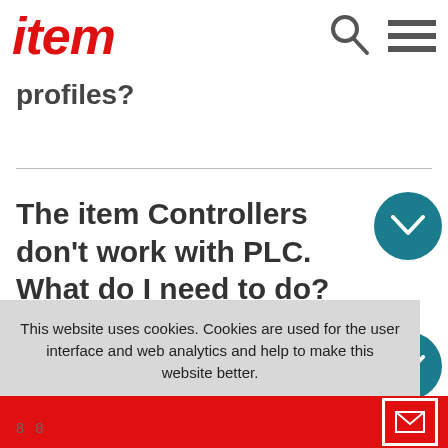item
profiles?
The item Controllers don't work with PLC. What do I need to do?
How can I reset the factory settings of my system?
This website uses cookies. Cookies are used for the user interface and web analytics and help to make this website better.